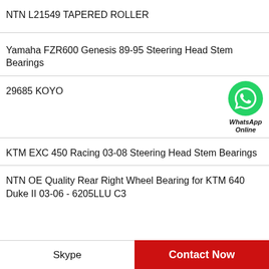NTN L21549 TAPERED ROLLER
Yamaha FZR600 Genesis 89-95 Steering Head Stem Bearings
29685 KOYO
[Figure (logo): WhatsApp Online green circle phone icon badge with text 'WhatsApp Online']
KTM EXC 450 Racing 03-08 Steering Head Stem Bearings
NTN OE Quality Rear Right Wheel Bearing for KTM 640 Duke II 03-06 - 6205LLU C3
Skype   Contact Now